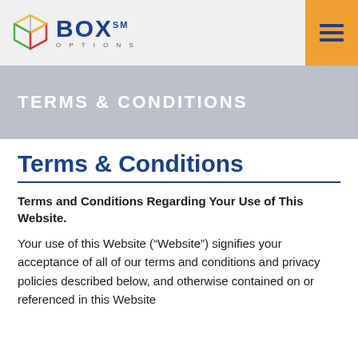BOX OPTIONS
TERMS & CONDITIONS
Terms & Conditions
Terms and Conditions Regarding Your Use of This Website.
Your use of this Website (“Website”) signifies your acceptance of all of our terms and conditions and privacy policies described below, and otherwise contained on or referenced in this Website